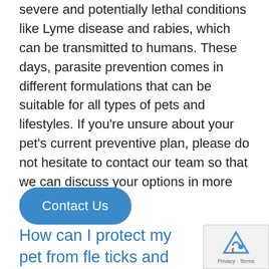severe and potentially lethal conditions like Lyme disease and rabies, which can be transmitted to humans. These days, parasite prevention comes in different formulations that can be suitable for all types of pets and lifestyles. If you're unsure about your pet's current preventive plan, please do not hesitate to contact our team so that we can discuss your options in more detail.
[Figure (other): Blue rounded rectangle button labeled 'Contact Us']
How can I protect my pet from fle ticks and other parasites?
[Figure (other): reCAPTCHA badge with Google logo and Privacy - Terms text]